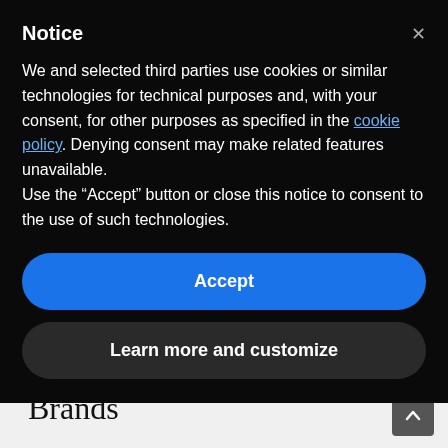Notice
We and selected third parties use cookies or similar technologies for technical purposes and, with your consent, for other purposes as specified in the cookie policy. Denying consent may make related features unavailable.
Use the “Accept” button or close this notice to consent to the use of such technologies.
Accept
Learn more and customize
House call clock repair estimates at a reasonable rate which is deducted from our charge if we do the work
Brands